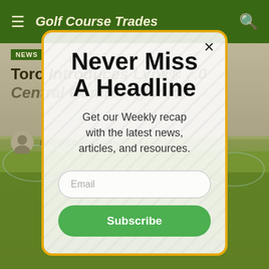Golf Course Trades
[Figure (screenshot): Golf course background image showing green grass and sprinklers, in grayscale/muted tones]
Never Miss A Headline
Get our Weekly recap with the latest news, articles, and resources.
Email
Subscribe
NEWS
Toro Introduces Lynx® 7.0 Central Control System
By Golf Course Trades